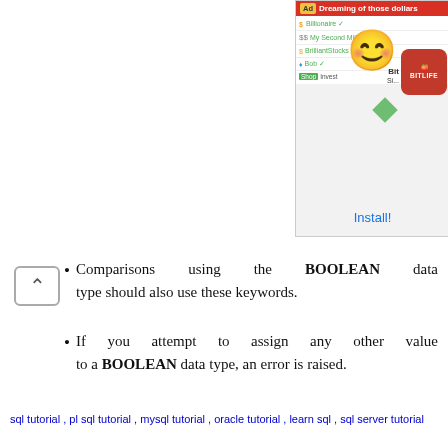[Figure (screenshot): Advertisement banner for BitLife app showing 'Dreaming of those dollars' with smiley emoji and Install button]
Comparisons using the BOOLEAN data type should also use these keywords.
If you attempt to assign any other value to a BOOLEAN data type, an error is raised.
sql tutorial , pl sql tutorial , mysql tutorial , oracle tutorial , learn sql , sql server tutorial
Examples
BOOLEAN
Valid